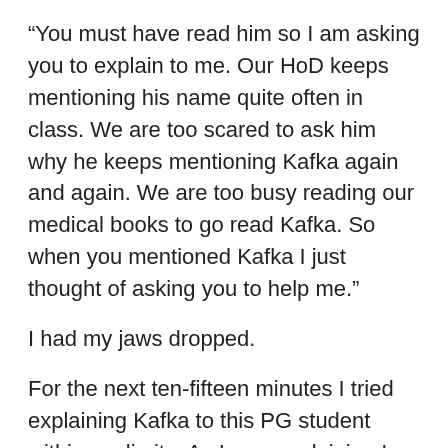“You must have read him so I am asking you to explain to me. Our HoD keeps mentioning his name quite often in class. We are too scared to ask him why he keeps mentioning Kafka again and again. We are too busy reading our medical books to go read Kafka. So when you mentioned Kafka I just thought of asking you to help me.”
I had my jaws dropped.
For the next ten-fifteen minutes I tried explaining Kafka to this PG student within my limits. As I was explaining I was laughing in my head seeing myself take a crash course on Kafka when I was there to be counselled.
It has been seven years since this happened. Late October 2008. Now I read that the first work of Franz Kafka which I read i.e. ‘The Metamorphosis,’ completes